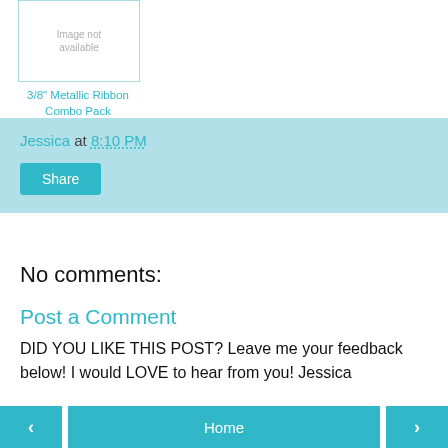[Figure (photo): Product image placeholder box with 'Image not available' text]
3/8" Metallic Ribbon Combo Pack
Jessica at 8:10 PM
Share
No comments:
Post a Comment
DID YOU LIKE THIS POST? Leave me your feedback below! I would LOVE to hear from you! Jessica
< Home >